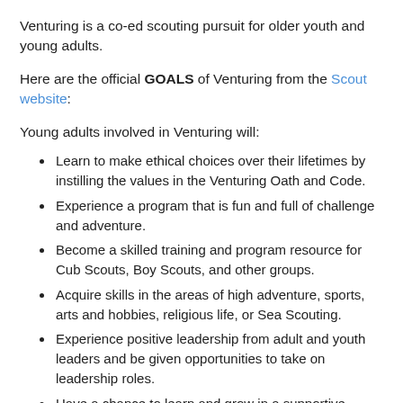Venturing is a co-ed scouting pursuit for older youth and young adults.
Here are the official GOALS of Venturing from the Scout website:
Young adults involved in Venturing will:
Learn to make ethical choices over their lifetimes by instilling the values in the Venturing Oath and Code.
Experience a program that is fun and full of challenge and adventure.
Become a skilled training and program resource for Cub Scouts, Boy Scouts, and other groups.
Acquire skills in the areas of high adventure, sports, arts and hobbies, religious life, or Sea Scouting.
Experience positive leadership from adult and youth leaders and be given opportunities to take on leadership roles.
Have a chance to learn and grow in a supportive, caring, and fun environment.